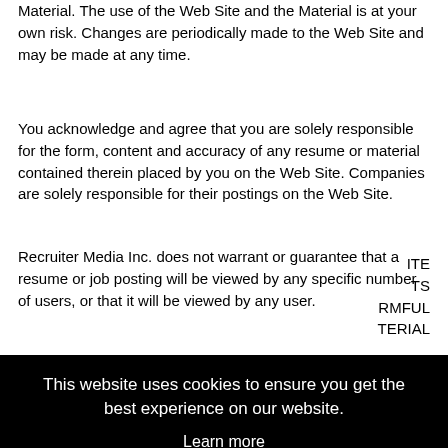Material. The use of the Web Site and the Material is at your own risk. Changes are periodically made to the Web Site and may be made at any time.
You acknowledge and agree that you are solely responsible for the form, content and accuracy of any resume or material contained therein placed by you on the Web Site. Companies are solely responsible for their postings on the Web Site.
Recruiter Media Inc. does not warrant or guarantee that a resume or job posting will be viewed by any specific number of users, or that it will be viewed by any user.
Recruiter Media Inc. is not to be considered to be an employer with [text obscured by overlay] shall [text obscured] ver [text obscured] profiles
ITE TS RMFUL TERIAL SIBLE FOR THOSE COSTS.
This website uses cookies to ensure you get the best experience on our website. Learn more Got it!